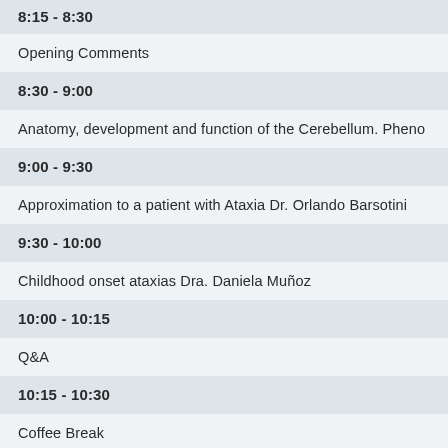8:15 - 8:30
Opening Comments
8:30 - 9:00
Anatomy, development and function of the Cerebellum. Pheno
9:00 - 9:30
Approximation to a patient with Ataxia Dr. Orlando Barsotini
9:30 - 10:00
Childhood onset ataxias Dra. Daniela Muñoz
10:00 - 10:15
Q&A
10:15 - 10:30
Coffee Break